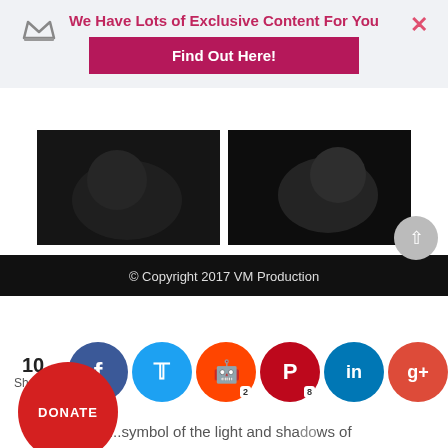[Figure (screenshot): Website screenshot showing a promotional banner overlay, film stills, article text about a scene between Kindler and his wife using light and shadow, a donate button, copyright footer, and social sharing bar]
We Have Lots of Exclusive Content For You
Find Out Here!
[Figure (photo): Two black and white film stills side by side]
The final scene between Kindler and his wife employs the striking use of light and shadow. Bright light cast through the windows and illuminates the interior. Other areas remain hidden behind shadows cast by the
DONATE
© Copyright 2017 VM Production
10 Shares
symbol of the light and shadows of